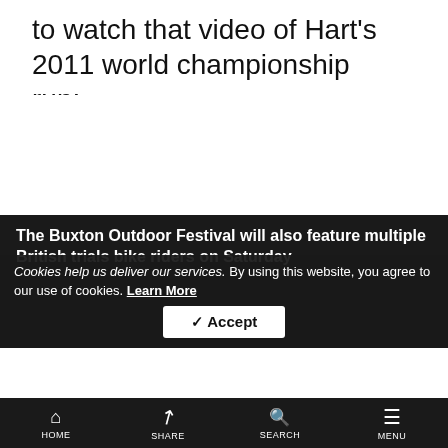to watch that video of Hart's 2011 world championship run:
[Figure (other): Blank white space where an embedded video would appear]
The Buxton Outdoor Festival will also feature multiple British trials bike riders on Saturday
Cookies help us deliver our services. By using this website, you agree to our use of cookies. Learn More
HOME   SHARE   SEARCH   MENU